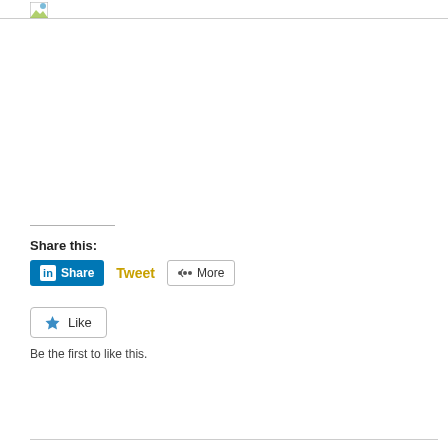[Figure (other): Broken image icon at top left]
Share this:
[Figure (other): LinkedIn Share button, Tweet button, and More button row]
[Figure (other): Like button with star icon]
Be the first to like this.